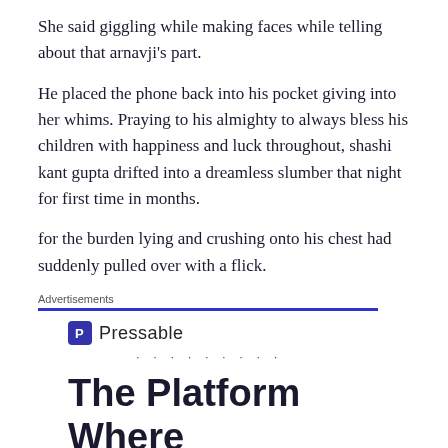She said giggling while making faces while telling about that arnavji's part.
He placed the phone back into his pocket giving into her whims. Praying to his almighty to always bless his children with happiness and luck throughout, shashi kant gupta drifted into a dreamless slumber that night for first time in months.
for the burden lying and crushing onto his chest had suddenly pulled over with a flick.
Advertisements
[Figure (logo): Pressable logo with blue square icon containing letter P and text 'Pressable', followed by dots]
The Platform Where WordPress